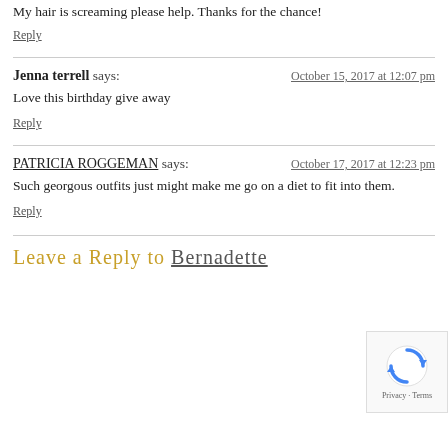My hair is screaming please help. Thanks for the chance!
Reply
Jenna terrell says: — October 15, 2017 at 12:07 pm
Love this birthday give away
Reply
PATRICIA ROGGEMAN says: — October 17, 2017 at 12:23 pm
Such georgous outfits just might make me go on a diet to fit into them.
Reply
Leave a Reply to Bernadette